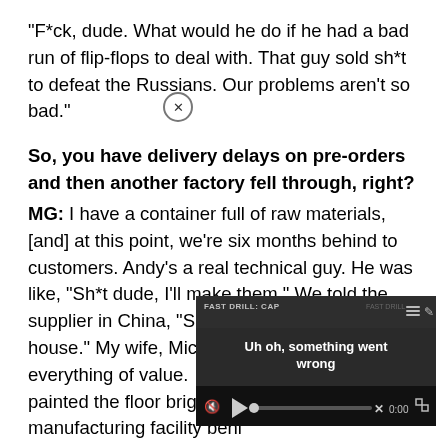“F*ck, dude. What would he do if he had a bad run of flip-flops to deal with. That guy sold sh*t to defeat the Russians. Our problems aren’t so bad.”
So, you have delivery delays on pre-orders and then another factory fell through, right?
MG: I have a container full of raw materials, [and] at this point, we’re six months behind to customers. Andy’s a real technical guy. He was like, “Sh*t dude, I’ll make them.” We told the supplier in China, “Ship the container to my house.” My wife, Michele, everything of value. … We painted the floor bright gre manufacturing facility behi
[Figure (screenshot): Video player overlay showing 'FAST DRILL: CAP' title with error message 'Uh oh, something went wrong', mute icon, play button, progress bar with X, timestamp 0:00, and fullscreen button. Dark themed video player UI.]